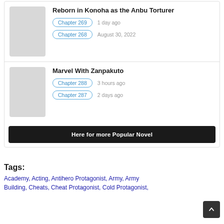Reborn in Konoha as the Anbu Torturer
Chapter 269   1 day ago
Chapter 268   August 30, 2022
Marvel With Zanpakuto
Chapter 288   3 hours ago
Chapter 287   2 days ago
Here for more Popular Novel
Tags:
Academy, Acting, Antihero Protagonist, Army, Army Building, Cheats, Cheat Protagonist, Cold Protagonist,